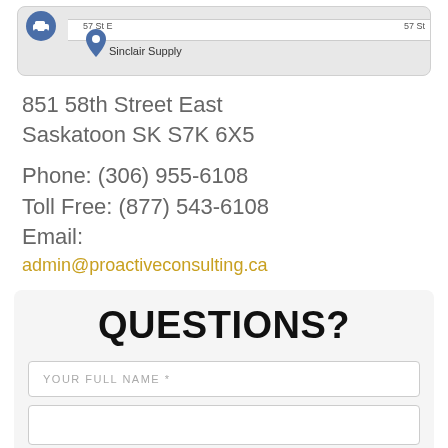[Figure (map): Partial Google Maps screenshot showing '57 St E' road label, '57 St' label on right, a car icon marker, a location pin, and 'Sinclair Supply' place label]
851 58th Street East
Saskatoon SK S7K 6X5
Phone: (306) 955-6108
Toll Free: (877) 543-6108
Email:
admin@proactiveconsulting.ca
QUESTIONS?
YOUR FULL NAME *